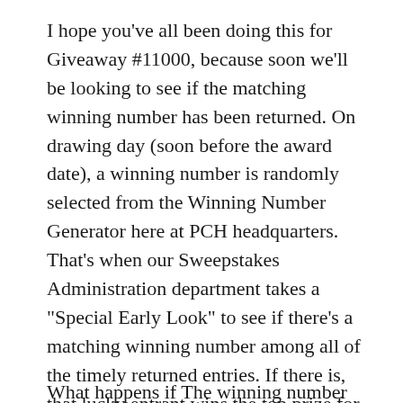I hope you've all been doing this for Giveaway #11000, because soon we'll be looking to see if the matching winning number has been returned. On drawing day (soon before the award date), a winning number is randomly selected from the Winning Number Generator here at PCH headquarters. That's when our Sweepstakes Administration department takes a "Special Early Look" to see if there's a matching winning number among all of the timely returned entries. If there is, that lucky entrant wins the top prize for the event … in this case it would be $7,000.00 A Week For Life!
What happens if The winning number has not